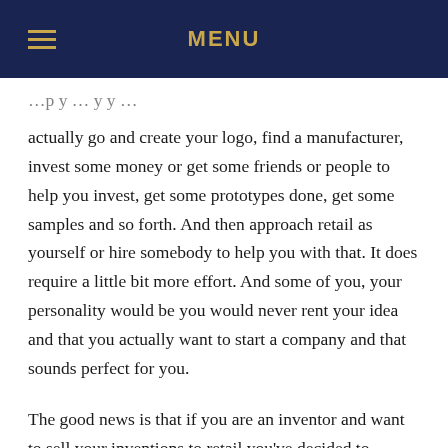MENU
actually go and create your logo, find a manufacturer, invest some money or get some friends or people to help you invest, get some prototypes done, get some samples and so forth. And then approach retail as yourself or hire somebody to help you with that. It does require a little bit more effort. And some of you, your personality would be you would never rent your idea and that you actually want to start a company and that sounds perfect for you.
The good news is that if you are an inventor and want to sell your inventions to retail you've decided to develop your product and do the work